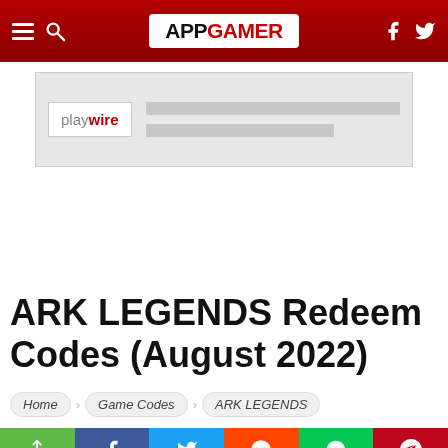APPGAMER
[Figure (other): Playwire advertisement banner with logo and gray placeholder bars]
ARK LEGENDS Redeem Codes (August 2022)
Home > Game Codes > ARK LEGENDS
[Figure (other): Social share buttons row: share, Facebook, Twitter, Reddit, Line, Pinterest]